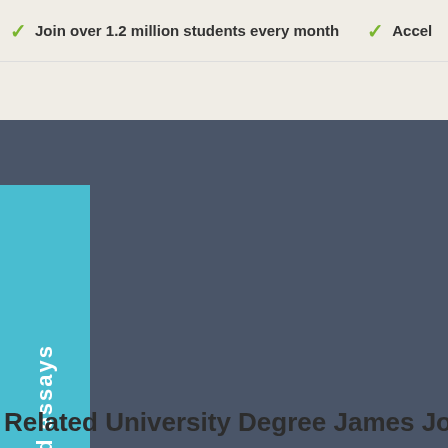Join over 1.2 million students every month  ✓ Accel
[Figure (screenshot): Dark blue-gray rectangular panel with a teal 'See related essays' vertical tab on the left side]
Related University Degree James Joyce e